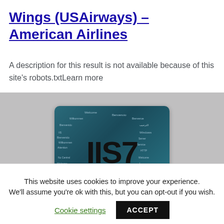Wings (USAirways) – American Airlines
A description for this result is not available because of this site's robots.txtLearn more
[Figure (screenshot): Screenshot of a website showing an IIS7 (Internet Information Services) splash page with a word cloud on a dark teal background]
This website uses cookies to improve your experience. We'll assume you're ok with this, but you can opt-out if you wish. Cookie settings ACCEPT